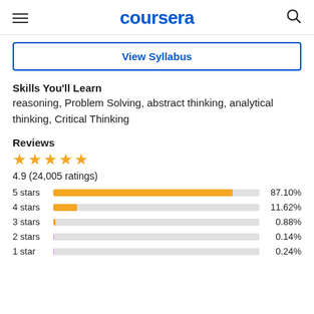coursera
View Syllabus
Skills You'll Learn
reasoning, Problem Solving, abstract thinking, analytical thinking, Critical Thinking
Reviews
4.9 (24,005 ratings)
[Figure (bar-chart): Ratings distribution]